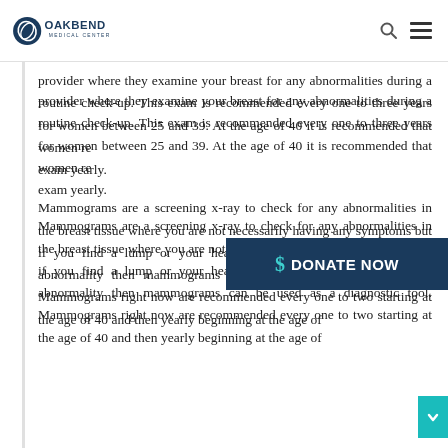OakBend Medical Center
provider where they examine your breast for any abnormalities during a routine check-up. This exam is recommended every one to three years for women between 25 and 39. At the age of 40 it is recommended that women receive this exam yearly.
Mammograms are a screening x-ray to check for any abnormalities in the breast tissue where you are not necessarily having any symptoms but if you find a lump or your healthcare provider finds any kind of abnormality then mammograms can be used as a diagnostic tool. Mammograms right now are recommended every one to two starting at the age of 40 and then yearly beginning at the age of